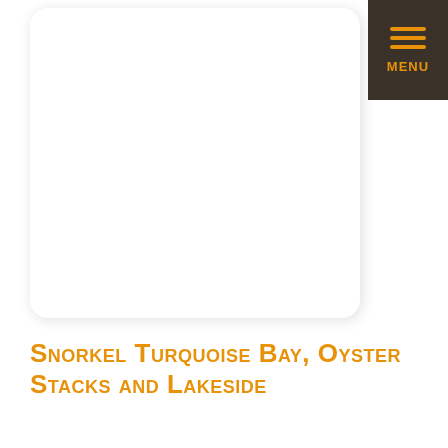[Figure (other): Navigation menu button with orange hamburger icon lines and MENU label on dark brown background, top right corner]
[Figure (other): White card with rounded corners and drop shadow, occupying upper portion of page]
Snorkel Turquoise Bay, Oyster Stacks and Lakeside
All year around
With Ningaloo Reef right there in front of you, it takes only a few meters to swim and you are on top of pristine coral reef! If you haven't snorkelled yet, practice in the pool a little beforehand. This is our biggest attraction and you don't want to miss out! Drifting downstream with the light current parallel to the beach, over some of the best coral reefs in the world,